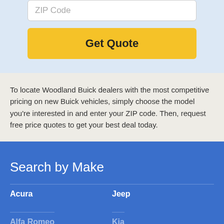ZIP Code
Get Quote
To locate Woodland Buick dealers with the most competitive pricing on new Buick vehicles, simply choose the model you're interested in and enter your ZIP code. Then, request free price quotes to get your best deal today.
Search by Make
Acura
Jeep
Alfa Romeo
Kia
▲ Back to Top